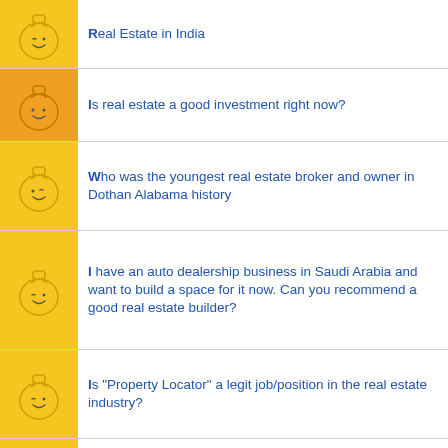Real Estate in India
Is real estate a good investment right now?
Who was the youngest real estate broker and owner in Dothan Alabama history
I have an auto dealership business in Saudi Arabia and want to build a space for it now. Can you recommend a good real estate builder?
Is "Property Locator" a legit job/position in the real estate industry?
What is the salary of a real estate